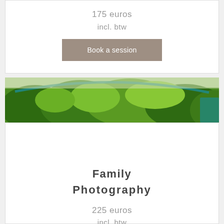175 euros
incl. btw
Book a session
[Figure (photo): Aerial or overhead view of lush green trees/foliage with a curved teal/blue arc or structure visible at the top]
Family Photography
225 euros
incl. btw